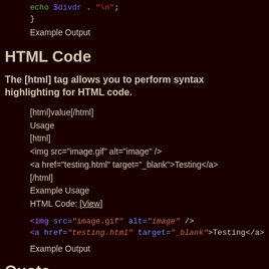echo $divdr . "\n";
}
Example Output
HTML Code
The [html] tag allows you to perform syntax highlighting for HTML code.
[html]value[/html]
Usage
[html]
<img src="image.gif" alt="image" />
<a href="testing.html" target="_blank">Testing</a>
[/html]
Example Usage
HTML Code: [View]
<img src="image.gif" alt="image" />
<a href="testing.html" target="_blank">Testing</a>
Example Output
Quote
The [quote] tag allows you to attribute text to